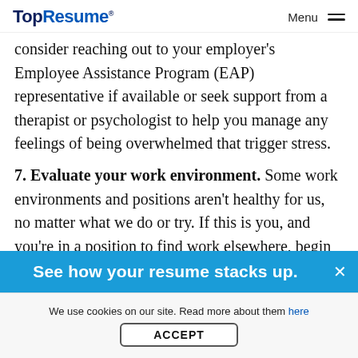TopResume® Menu
consider reaching out to your employer's Employee Assistance Program (EAP) representative if available or seek support from a therapist or psychologist to help you manage any feelings of being overwhelmed that trigger stress.
7. Evaluate your work environment. Some work environments and positions aren't healthy for us, no matter what we do or try. If this is you, and you're in a position to find work elsewhere, begin
[Figure (other): Blue banner with text 'See how your resume stacks up.' and a close (×) button]
We use cookies on our site. Read more about them here
ACCEPT